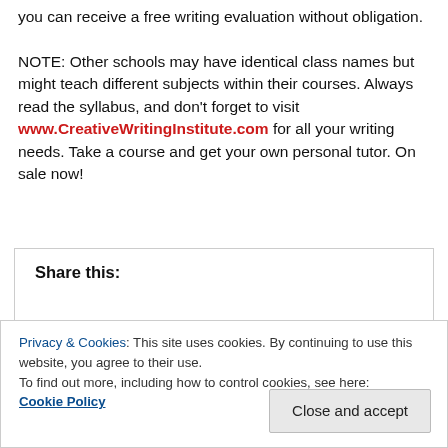you can receive a free writing evaluation without obligation.

NOTE: Other schools may have identical class names but might teach different subjects within their courses. Always read the syllabus, and don't forget to visit www.CreativeWritingInstitute.com for all your writing needs. Take a course and get your own personal tutor. On sale now!
Share this:
Privacy & Cookies: This site uses cookies. By continuing to use this website, you agree to their use.
To find out more, including how to control cookies, see here:
Cookie Policy